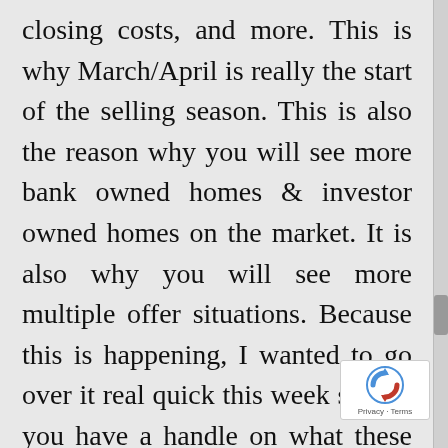closing costs, and more. This is why March/April is really the start of the selling season. This is also the reason why you will see more bank owned homes & investor owned homes on the market. It is also why you will see more multiple offer situations. Because this is happening, I wanted to go over it real quick this week so that you have a handle on what these all are. As always, your questions, and comments are alw welcome!
[Figure (logo): reCAPTCHA badge with spinning arrows logo icon and Privacy - Terms text link]